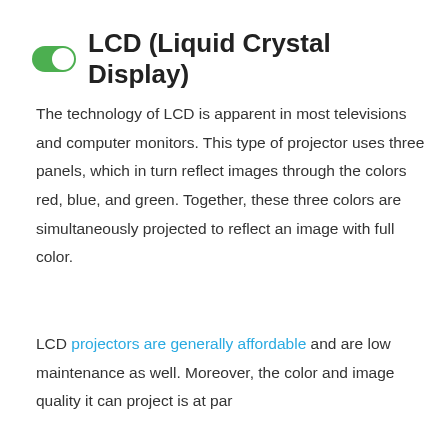LCD (Liquid Crystal Display)
The technology of LCD is apparent in most televisions and computer monitors. This type of projector uses three panels, which in turn reflect images through the colors red, blue, and green. Together, these three colors are simultaneously projected to reflect an image with full color.
LCD projectors are generally affordable and are low maintenance as well. Moreover, the color and image quality it can project is at par